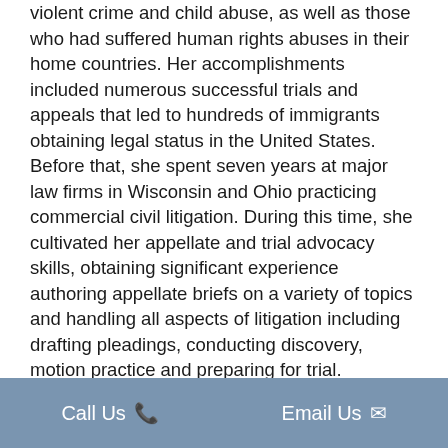violent crime and child abuse, as well as those who had suffered human rights abuses in their home countries. Her accomplishments included numerous successful trials and appeals that led to hundreds of immigrants obtaining legal status in the United States. Before that, she spent seven years at major law firms in Wisconsin and Ohio practicing commercial civil litigation. During this time, she cultivated her appellate and trial advocacy skills, obtaining significant experience authoring appellate briefs on a variety of topics and handling all aspects of litigation including drafting pleadings, conducting discovery, motion practice and preparing for trial.
Chris Mansour grew up in Rochester, Minnesota. She received her Bachelor of Arts in American Studies from the University of Notre Dame. After working as a journalist, she entered law school with the goal of using her skills to give a voice to those in need and
Call Us   Email Us